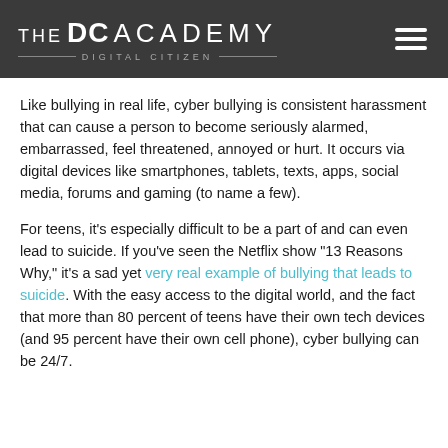THE DC ACADEMY DIGITAL CITIZEN
Like bullying in real life, cyber bullying is consistent harassment that can cause a person to become seriously alarmed, embarrassed, feel threatened, annoyed or hurt. It occurs via digital devices like smartphones, tablets, texts, apps, social media, forums and gaming (to name a few).
For teens, it’s especially difficult to be a part of and can even lead to suicide. If you’ve seen the Netflix show “13 Reasons Why,” it’s a sad yet very real example of bullying that leads to suicide. With the easy access to the digital world, and the fact that more than 80 percent of teens have their own tech devices (and 95 percent have their own cell phone), cyber bullying can be 24/7.